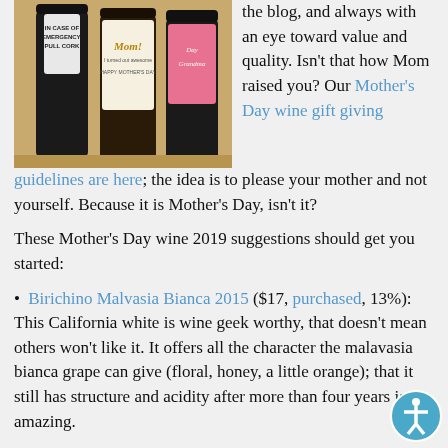[Figure (photo): Three wine bottles with novelty Mother's Day labels: 'In Case of Emergency Pull Cork', 'Mom! I turned out awesome Happy Mother's Day', and a pink label reading 'Day Grandma']
the blog, and always with an eye toward value and quality. Isn't that how Mom raised you? Our Mother's Day wine gift giving guidelines are here; the idea is to please your mother and not yourself. Because it is Mother's Day, isn't it?
These Mother's Day wine 2019 suggestions should get you started:
Birichino Malvasia Bianca 2015 ($17, purchased, 13%): This California white is wine geek worthy, that doesn't mean others won't like it. It offers all the character the malavasia bianca grape can give (floral, honey, a little orange); that it still has structure and acidity after more than four years is amazing.